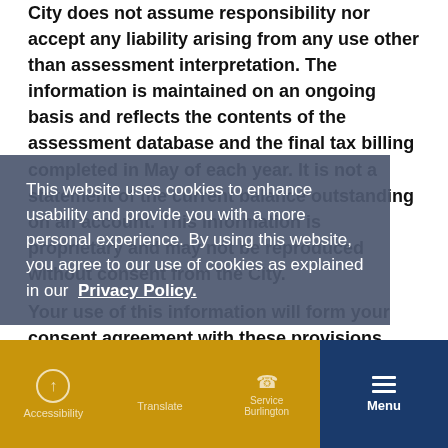City does not assume responsibility nor accept any liability arising from any use other than assessment interpretation. The information is maintained on an ongoing basis and reflects the contents of the assessment database and the final tax billing completed in May of each year. It is not a statement of the current balance outstanding on an account. This information is proprietary and may not be reproduced without consent from the City.
Your use of this information will form your consent agreement with these provisions.
Personal information contained on this form is
This website uses cookies to enhance usability and provide you with a more personal experience. By using this website, you agree to our use of cookies as explained in our Privacy Policy.
I Understand
Accessibility
Translate
Service Burlington
Menu